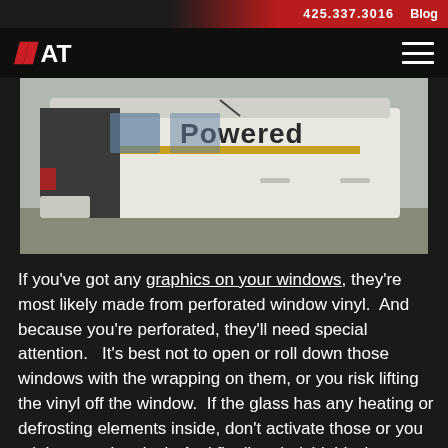425.337.3016  Blog
[Figure (photo): White delivery van with 'Powered' text graphic on side panel, photographed from outside showing side doors and windows]
If you've got any graphics on your windows, they're most likely made from perforated window vinyl.  And because you're perforated, they'll need special attention.   It's best not to open or roll down those windows with the wrapping on them, or you risk lifting the vinyl off the window.  If the glass has any heating or defrosting elements inside, don't activate those or you might warp the vinyl.  And finally, windshield wipers on those windows might